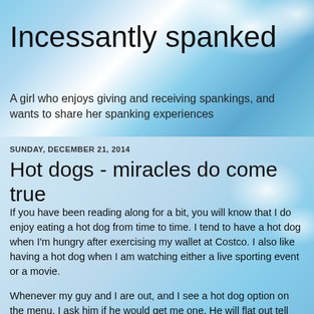Incessantly spanked
A girl who enjoys giving and receiving spankings, and wants to share her spanking experiences
SUNDAY, DECEMBER 21, 2014
Hot dogs - miracles do come true
If you have been reading along for a bit, you will know that I do enjoy eating a hot dog from time to time. I tend to have a hot dog when I'm hungry after exercising my wallet at Costco. I also like having a hot dog when I am watching either a live sporting event or a movie.
Whenever my guy and I are out, and I see a hot dog option on the menu, I ask him if he would get me one. He will flat out tell me no. He did make an exception a couple of months ago and said that I could order one because he was in a